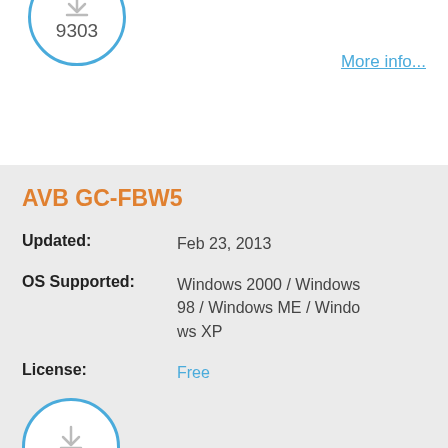[Figure (other): Circular badge with download icon and count 9303]
More info...
AVB GC-FBW5
Updated: Feb 23, 2013
OS Supported: Windows 2000 / Windows 98 / Windows ME / Windows XP
License: Free
[Figure (other): Circular badge with download icon and count 9607]
More info...